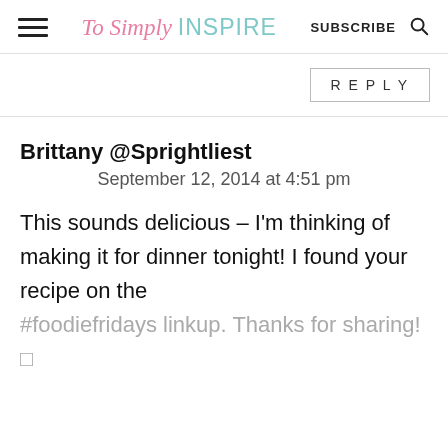To Simply INSPIRE  SUBSCRIBE
REPLY
Brittany @Sprightliest
September 12, 2014 at 4:51 pm
This sounds delicious – I'm thinking of making it for dinner tonight! I found your recipe on the #foodiefridays linkup. Thanks for sharing! 🙂